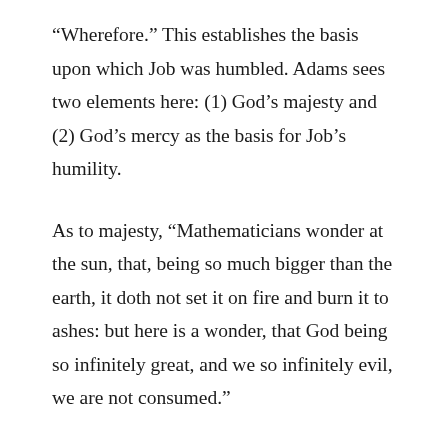“Wherefore.” This establishes the basis upon which Job was humbled. Adams sees two elements here: (1) God’s majesty and (2) God’s mercy as the basis for Job’s humility.
As to majesty, “Mathematicians wonder at the sun, that, being so much bigger than the earth, it doth not set it on fire and burn it to ashes: but here is a wonder, that God being so infinitely great, and we so infinitely evil, we are not consumed.”
As to mercy: Meditating upon the mercy of God is the great means to humble us, “nothing more humbles a heart of flesh.”